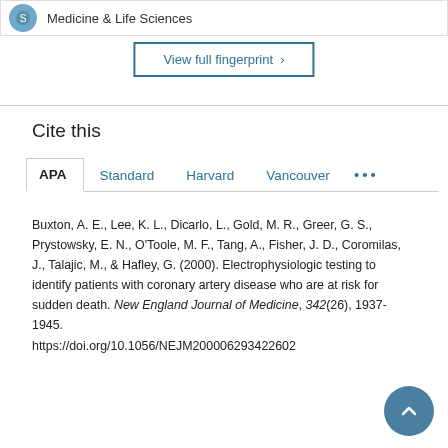Medicine & Life Sciences
View full fingerprint >
Cite this
APA  Standard  Harvard  Vancouver ...
Buxton, A. E., Lee, K. L., Dicarlo, L., Gold, M. R., Greer, G. S., Prystowsky, E. N., O'Toole, M. F., Tang, A., Fisher, J. D., Coromilas, J., Talajic, M., & Hafley, G. (2000). Electrophysiologic testing to identify patients with coronary artery disease who are at risk for sudden death. New England Journal of Medicine, 342(26), 1937-1945. https://doi.org/10.1056/NEJM200006293422602